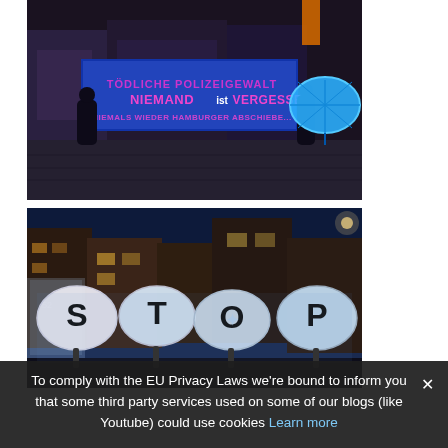[Figure (photo): Night protest photo: people holding a large dark blue banner with pink/white text reading 'TÖDLICHE POLIZEIGEWALT NIEMAND ist VERGESSEN' and more text below. A bright blue illuminated umbrella is visible on the right. Scene is on cobblestone street at night with storefronts in background.]
[Figure (photo): Night street protest photo: people holding illuminated white umbrellas with large black letters spelling 'STOP'. City street with shops and buildings visible in background under dark blue evening sky.]
To comply with the EU Privacy Laws we're bound to inform you that some third party services used on some of our blogs (like Youtube) could use cookies Learn more